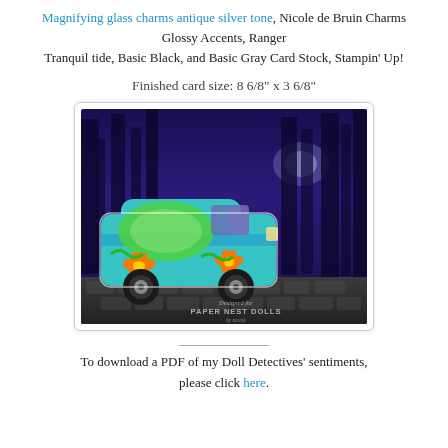Magnifying glass charms antique silver tone, Nicole de Bruin Charms
Glossy Accents, Ranger
Tranquil tide, Basic Black, and Basic Gray Card Stock, Stampin' Up!
Finished card size: 8 6/8" x 3 6/8"
[Figure (photo): Photo of a handmade card featuring a colorful Scooby-Doo Mystery Machine van die-cut, set against a dark purple night forest background, displayed on a wooden surface. The card has a shadow box style with gray cobblestone bottom strip. Watermark reads 'Designed for PAPER NEST DOLLS'.]
To download a PDF of my Doll Detectives' sentiments, please click here.